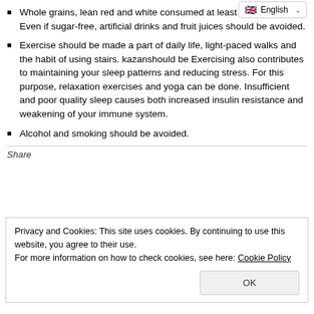Whole grains, lean red and white consumed at least 3 days a week. Even if sugar-free, artificial drinks and fruit juices should be avoided.
Exercise should be made a part of daily life, light-paced walks and the habit of using stairs. kazanshould be Exercising also contributes to maintaining your sleep patterns and reducing stress. For this purpose, relaxation exercises and yoga can be done. Insufficient and poor quality sleep causes both increased insulin resistance and weakening of your immune system.
Alcohol and smoking should be avoided.
Share
Privacy and Cookies: This site uses cookies. By continuing to use this website, you agree to their use.
For more information on how to check cookies, see here: Cookie Policy